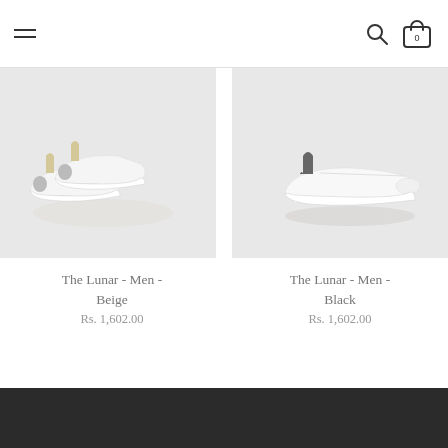Navigation header with hamburger menu, search icon, and cart icon showing 0
[Figure (photo): White sneaker shoes (The Lunar - Men - Beige) with beige heel tab, viewed from the back/side on a light grey background]
The Lunar - Men - Beige
Rs. 1,602.00
[Figure (photo): White sneaker shoes (The Lunar - Men - Black) with dark grey/black heel tab, viewed from the side on a light grey background]
The Lunar - Men - Black
Rs. 1,602.00